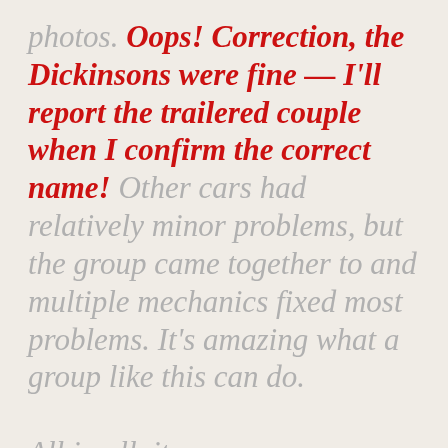photos. Oops! Correction, the Dickinsons were fine — I'll report the trailered couple when I confirm the correct name! Other cars had relatively minor problems, but the group came together to and multiple mechanics fixed most problems. It's amazing what a group like this can do.
All in all, it was a very successful